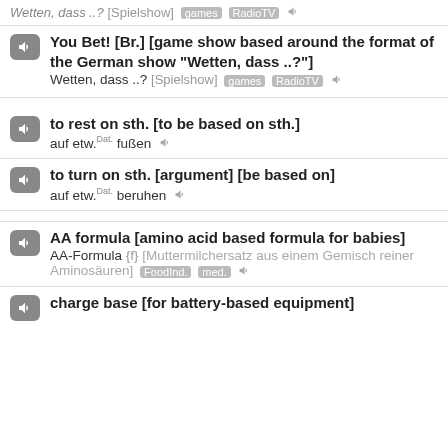Wetten, dass ..? [Spielshow] games RadioTV
You Bet! [Br.] [game show based around the format of the German show "Wetten, dass ..?"]
Wetten, dass ..? [Spielshow] games RadioTV
to rest on sth. [to be based on sth.]
auf etw.Dat. fußen
to turn on sth. [argument] [be based on]
auf etw.Dat. beruhen
AA formula [amino acid based formula for babies]
AA-Formula {f} [Muttermilchersatz aus einem Gemisch reiner Aminosäuren] FoodInd. med.
charge base [for battery-based equipment]